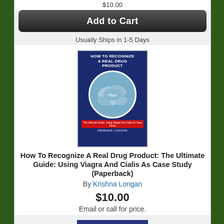$10.00
Add to Cart
Usually Ships in 1-5 Days
[Figure (photo): Book cover of 'How To Recognize A Real Drug Product' showing blue Pfizer pills in a circle, with subtitle 'The Ultimate Guide: Using Viagra And Cialis As Case Study' by Krishna Longan]
How To Recognize A Real Drug Product: The Ultimate Guide: Using Viagra And Cialis As Case Study (Paperback)
By Krishna Longan
$10.00
Email or call for price.
[Figure (photo): Book cover of 'Buzzed' with dark blue background and various doodle illustrations]